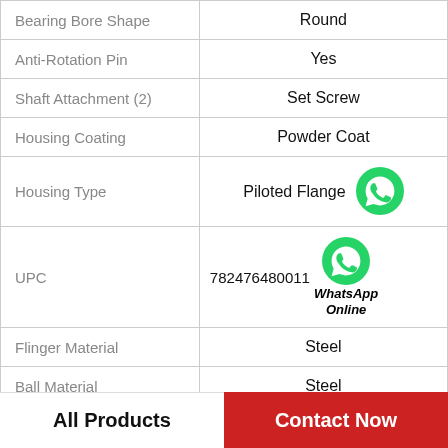| Property | Value |
| --- | --- |
| Bearing Bore Shape | Round |
| Anti-Rotation Pin | Yes |
| Shaft Attachment (2) | Set Screw |
| Housing Coating | Powder Coat |
| Housing Type | Piloted Flange |
| UPC | 782476480011 |
| Flinger Material | Steel |
| Ball Material | Steel |
| Ring Size | Standard |
All Products | Contact Now